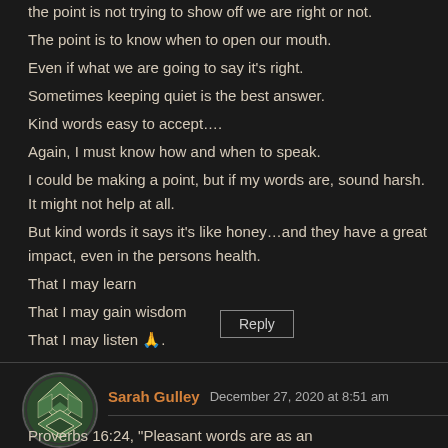The point is not trying to show off we are right or not.
The point is to know when to open our mouth.
Even if what we are going to say it's right.
Sometimes keeping quiet is the best answer.
Kind words easy to accept....
Again, I must know how and when to speak.
I could be making a point, but if my words are, sound harsh. It might not help at all.
But kind words it says it's like honey...and they have a great impact, even in the persons health.
That I may learn
That I may gain wisdom
That I may listen 🙏.
Reply
Sarah Gulley  December 27, 2020 at 8:51 am
Proverbs 16:24, "Pleasant words are as an